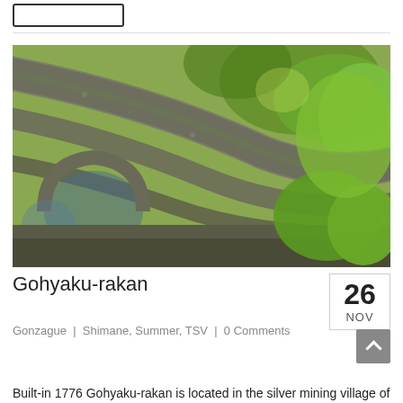[Figure (photo): Close-up photograph of ancient stone arch bridges covered in moss and surrounded by lush green vegetation, shot from below looking through multiple arches]
Gohyaku-rakan
26 NOV
Gonzague | Shimane, Summer, TSV | 0 Comments
Built-in 1776 Gohyaku-rakan is located in the silver mining village of